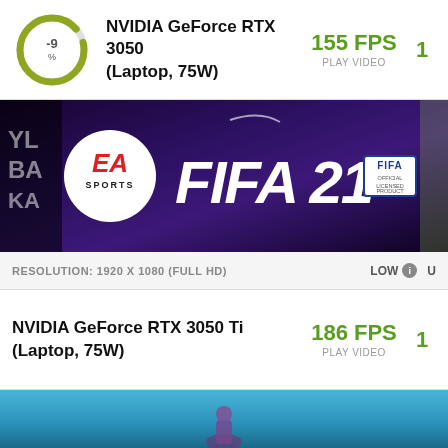[Figure (infographic): Donut chart showing -9% with olive/yellow-green ring]
NVIDIA GeForce RTX 3050 (Laptop, 75W)
155 FPS
PLAY VIDEO
[Figure (photo): FIFA 21 game banner with EA Sports logo, players, dark purple background]
RESOLUTION: 1920 X 1080 (FULL HD)  LOW  U
NVIDIA GeForce RTX 3050 Ti (Laptop, 75W)
186 FPS
PLAY VIDEO
[Figure (photo): Partial game banner preview with aqua/teal background, partial figure visible]